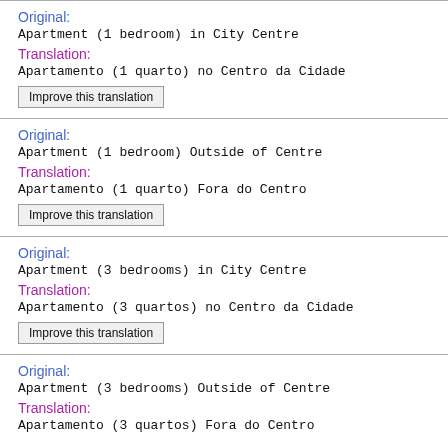Original:
Apartment (1 bedroom) in City Centre
Translation:
Apartamento (1 quarto) no Centro da Cidade
Improve this translation
Original:
Apartment (1 bedroom) Outside of Centre
Translation:
Apartamento (1 quarto) Fora do Centro
Improve this translation
Original:
Apartment (3 bedrooms) in City Centre
Translation:
Apartamento (3 quartos) no Centro da Cidade
Improve this translation
Original:
Apartment (3 bedrooms) Outside of Centre
Translation:
Apartamento (3 quartos) Fora do Centro